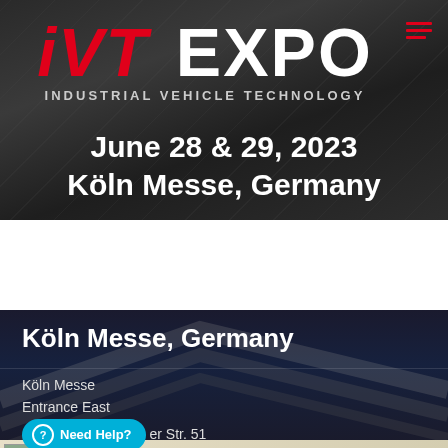[Figure (screenshot): iVT EXPO logo on dark metallic background with hamburger menu icon in top right]
iVT EXPO
INDUSTRIAL VEHICLE TECHNOLOGY
June 28 & 29, 2023
Köln Messe, Germany
[Figure (map): Google Maps screenshot showing Köln Messe area with map thumbnail, Google wordmark, and footer bar with 'Keyboard shortcuts | Map data ©2022 GeoBasis-DE/BKG (©2009) | Terms of Use']
Köln Messe, Germany
Köln Messe
Entrance East
Need Help?  er Str. 51
50679 Köln